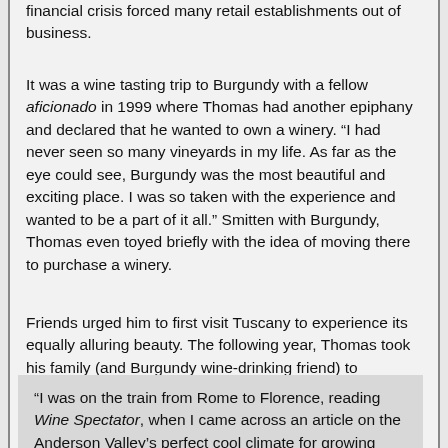financial crisis forced many retail establishments out of business.
It was a wine tasting trip to Burgundy with a fellow aficionado in 1999 where Thomas had another epiphany and declared that he wanted to own a winery. “I had never seen so many vineyards in my life. As far as the eye could see, Burgundy was the most beautiful and exciting place. I was so taken with the experience and wanted to be a part of it all.” Smitten with Burgundy, Thomas even toyed briefly with the idea of moving there to purchase a winery.
Friends urged him to first visit Tuscany to experience its equally alluring beauty. The following year, Thomas took his family (and Burgundy wine-drinking friend) to Tuscany, renting a house in the picturesque historic town of Colle di Val d’Elsa near San Gimignano.
“I was on the train from Rome to Florence, reading Wine Spectator, when I came across an article on the Anderson Valley’s perfect cool climate for growing Pinot Noir. Looking out the window at a Tuscan